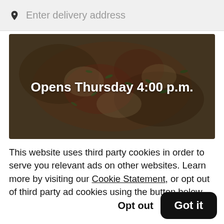Enter delivery address
[Figure (photo): Pizza with arugula toppings, darkened overlay with text 'Opens Thursday 4:00 p.m.']
This website uses third party cookies in order to serve you relevant ads on other websites. Learn more by visiting our Cookie Statement, or opt out of third party ad cookies using the button below.
Opt out
Got it